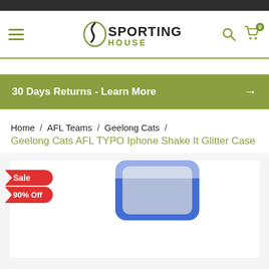Sporting House - Australia's No.1 Sports Merchandise
30 Days Returns - Learn More →
Home / AFL Teams / Geelong Cats / Geelong Cats AFL TYPO Iphone Shake It Glitter Case
[Figure (photo): Product photo showing Geelong Cats AFL TYPO Iphone Shake It Glitter Case, partially visible, blue frame, with Sale and 90% Off badges]